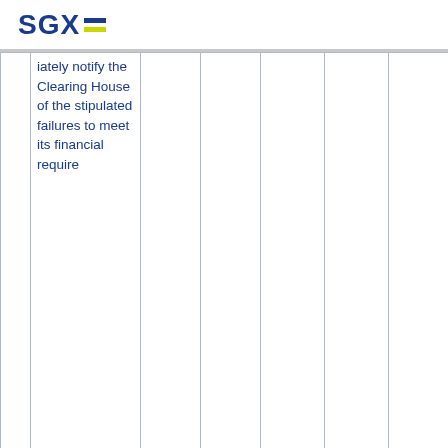SGX
|  | iately notify the Clearing House of the stipulated failures to meet its financial require |  |  |  |  |  |